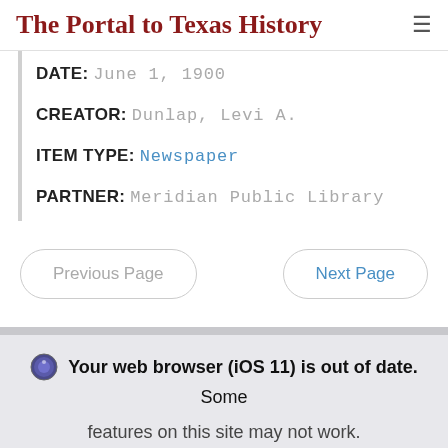The Portal to Texas History
DATE: June 1, 1900
CREATOR: Dunlap, Levi A.
ITEM TYPE: Newspaper
PARTNER: Meridian Public Library
Previous Page
Next Page
Your web browser (iOS 11) is out of date. Some features on this site may not work.
Update browser
Ignore